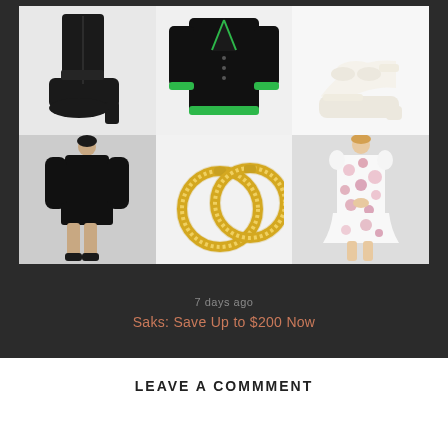[Figure (photo): 6-item fashion product collage: top row shows black high-heel boots, black cardigan with green trim, white platform heels; bottom row shows black long-sleeve mini dress, gold hoop earrings with diamonds, white and pink floral mini dress]
7 days ago
Saks: Save Up to $200 Now
LEAVE A COMMMENT